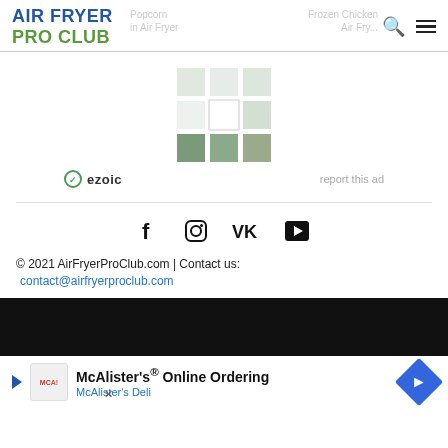AIR FRYER PRO CLUB
[Figure (other): Ezoic advertisement placeholder showing a 3x3 grid of green-tinted squares, with ezoic branding and 'report this ad' link]
f  Instagram  VK  YouTube social icons
© 2021 AirFryerProClub.com | Contact us: contact@airfryerproclub.com
[Figure (other): McAlister's Online Ordering advertisement banner with logo, title, and blue diamond arrow icon]